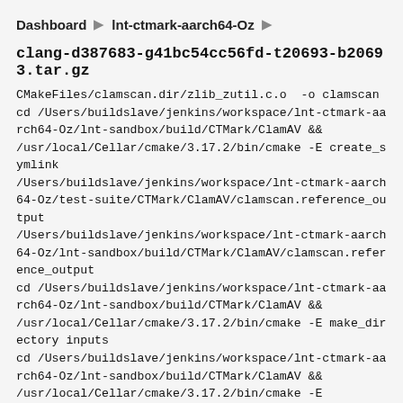Dashboard ▶ lnt-ctmark-aarch64-Oz ▶
clang-d387683-g41bc54cc56fd-t20693-b20693.tar.gz
CMakeFiles/clamscan.dir/zlib_zutil.c.o  -o clamscan
cd /Users/buildslave/jenkins/workspace/lnt-ctmark-aarch64-Oz/lnt-sandbox/build/CTMark/ClamAV &&
/usr/local/Cellar/cmake/3.17.2/bin/cmake -E create_symlink
/Users/buildslave/jenkins/workspace/lnt-ctmark-aarch64-Oz/test-suite/CTMark/ClamAV/clamscan.reference_output
/Users/buildslave/jenkins/workspace/lnt-ctmark-aarch64-Oz/lnt-sandbox/build/CTMark/ClamAV/clamscan.reference_output
cd /Users/buildslave/jenkins/workspace/lnt-ctmark-aarch64-Oz/lnt-sandbox/build/CTMark/ClamAV &&
/usr/local/Cellar/cmake/3.17.2/bin/cmake -E make_directory inputs
cd /Users/buildslave/jenkins/workspace/lnt-ctmark-aarch64-Oz/lnt-sandbox/build/CTMark/ClamAV &&
/usr/local/Cellar/cmake/3.17.2/bin/cmake -E